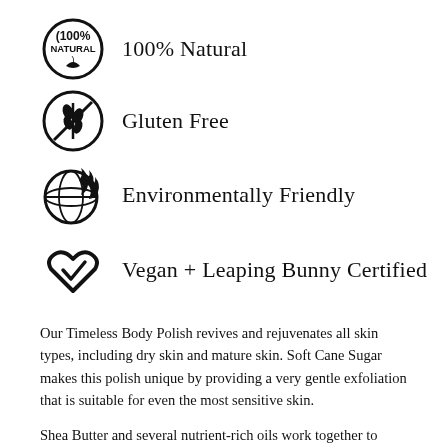100% Natural
Gluten Free
Environmentally Friendly
Vegan + Leaping Bunny Certified
Our Timeless Body Polish revives and rejuvenates all skin types, including dry skin and mature skin. Soft Cane Sugar makes this polish unique by providing a very gentle exfoliation that is suitable for even the most sensitive skin.
Shea Butter and several nutrient-rich oils work together to soften and hydrate skin while natural Cane Sugar gently exfoliates dry skin, leaving supple, smooth skin in its place. Evening Primrose and Rosehip Seed